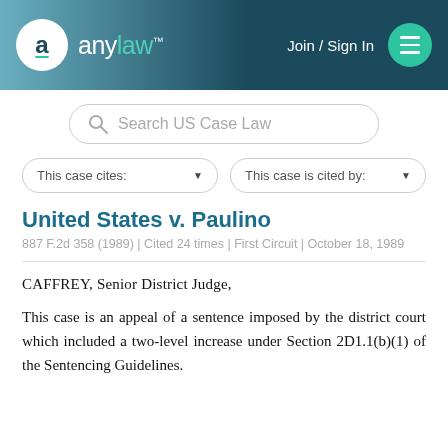anylaw™ — Join / Sign In
Search US Case Law
This case cites:
This case is cited by:
United States v. Paulino
887 F.2d 358 (1989) | Cited 24 times | First Circuit | October 18, 1989
CAFFREY, Senior District Judge,
This case is an appeal of a sentence imposed by the district court which included a two-level increase under Section 2D1.1(b)(1) of the Sentencing Guidelines.